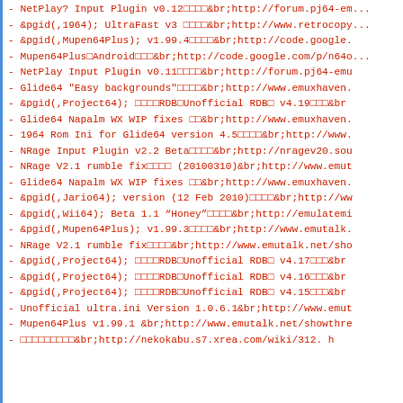- NetPlay? Input Plugin v0.12□□□□&br;http://forum.pj64-em...
- &pgid(,1964); UltraFast v3 □□□□&br;http://www.retrocopy...
- &pgid(,Mupen64Plus); v1.99.4□□□□&br;http://code.google....
- Mupen64Plus□Android□□□&br;http://code.google.com/p/n64o...
- NetPlay Input Plugin v0.11□□□□&br;http://forum.pj64-emu...
- Glide64 "Easy backgrounds"□□□□&br;http://www.emuxhaven....
- &pgid(,Project64); □□□□RDB□Unofficial RDB□ v4.19□□□&br...
- Glide64 Napalm WX WIP fixes □□&br;http://www.emuxhaven....
- 1964 Rom Ini for Glide64 version 4.5□□□□&br;http://www....
- NRage Input Plugin v2.2 Beta□□□□&br;http://nragev20.sou...
- NRage V2.1 rumble fix□□□□ (20100310)&br;http://www.emut...
- Glide64 Napalm WX WIP fixes □□&br;http://www.emuxhaven....
- &pgid(,Jario64); version (12 Feb 2010)□□□□&br;http://ww...
- &pgid(,Wii64); Beta 1.1 “Honey”□□□□&br;http://emulatemi...
- &pgid(,Mupen64Plus); v1.99.3□□□□&br;http://www.emutalk....
- NRage V2.1 rumble fix□□□□&br;http://www.emutalk.net/sho...
- &pgid(,Project64); □□□□RDB□Unofficial RDB□ v4.17□□□&br...
- &pgid(,Project64); □□□□RDB□Unofficial RDB□ v4.16□□□&br...
- &pgid(,Project64); □□□□RDB□Unofficial RDB□ v4.15□□□&br...
- Unofficial ultra.ini Version 1.0.6.1&br;http://www.emut...
- Mupen64Plus v1.99.1 &br;http://www.emutalk.net/showthre...
- □□□□□□□□□&br;http://nekokabu.s7.xrea.com/wiki/312. h...